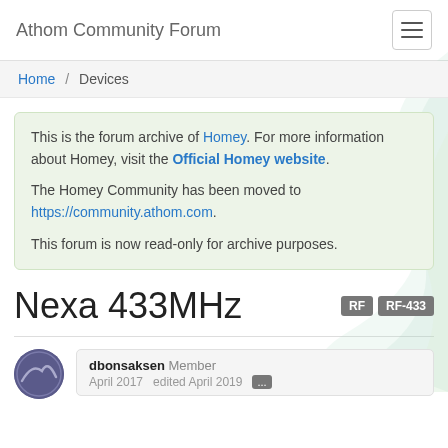Athom Community Forum
Home / Devices
This is the forum archive of Homey. For more information about Homey, visit the Official Homey website.

The Homey Community has been moved to https://community.athom.com.

This forum is now read-only for archive purposes.
Nexa 433MHz
dbonsaksen Member
April 2017  edited April 2019